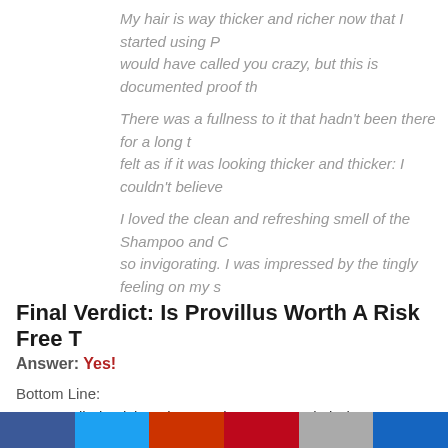My hair is way thicker and richer now that I started using P... would have called you crazy, but this is documented proof th...
There was a fullness to it that hadn't been there for a long t... felt as if it was looking thicker and thicker: I couldn't believe...
I loved the clean and refreshing smell of the Shampoo and C... so invigorating. I was impressed by the tingly feeling on my s...
Final Verdict: Is Provillus Worth A Risk Free T...
Answer: Yes!
Bottom Line:
It's applied quick and easy – just spray and air dry.
[Figure (other): Social sharing bar with Facebook, Twitter, Reddit, Pinterest, and other share buttons]